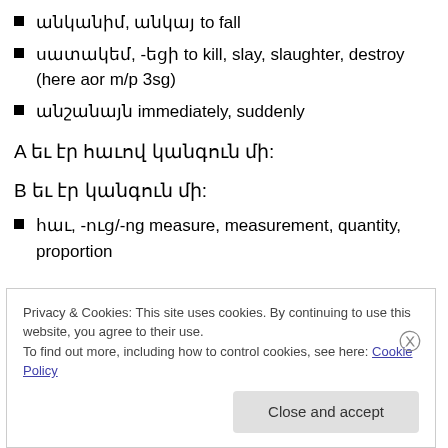անկանիմ, անկայ to fall
սատակեմ, -եցի to kill, slay, slaughter, destroy (here aor m/p 3sg)
անշանայն immediately, suddenly
A եւ էր հաւով կանգուն մի:
B եւ էր կանգուն մի:
հաւ, -ուց/-ug measure, measurement, quantity, proportion
Privacy & Cookies: This site uses cookies. By continuing to use this website, you agree to their use.
To find out more, including how to control cookies, see here: Cookie Policy